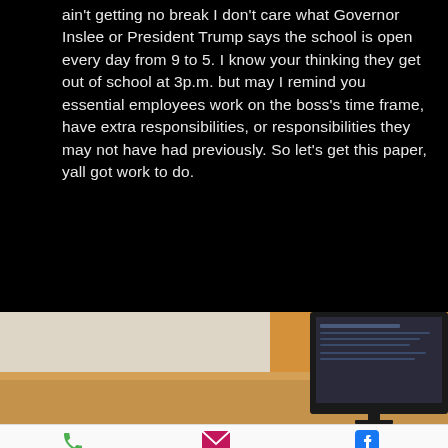ain't getting no break I don't care what Governor Inslee or President Trump says the school is open every day from 9 to 5. I know your thinking they get out of school at 3p.m. but may I remind you essential employees work on the boss's time frame, have extra responsibilities, or responsibilities they may not have had previously. So let's get this paper, yall got work to do.
[Figure (photo): Partial photo showing a wooden desk and a computer monitor in the lower right corner]
Phone   Email   Facebook